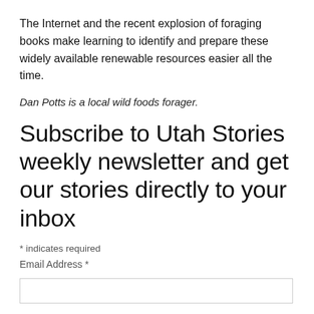The Internet and the recent explosion of foraging books make learning to identify and prepare these widely available renewable resources easier all the time.
Dan Potts is a local wild foods forager.
Subscribe to Utah Stories weekly newsletter and get our stories directly to your inbox
* indicates required
Email Address *